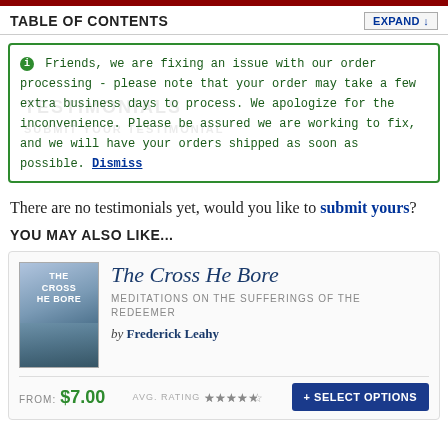TABLE OF CONTENTS
Friends, we are fixing an issue with our order processing - please note that your order may take a few extra business days to process. We apologize for the inconvenience. Please be assured we are working to fix, and we will have your orders shipped as soon as possible. Dismiss
There are no testimonials yet, would you like to submit yours?
YOU MAY ALSO LIKE...
[Figure (illustration): Book cover for 'The Cross He Bore' showing a landscape with sky]
The Cross He Bore
MEDITATIONS ON THE SUFFERINGS OF THE REDEEMER
by Frederick Leahy
FROM: $7.00  AVG. RATING ★★★★☆  + SELECT OPTIONS